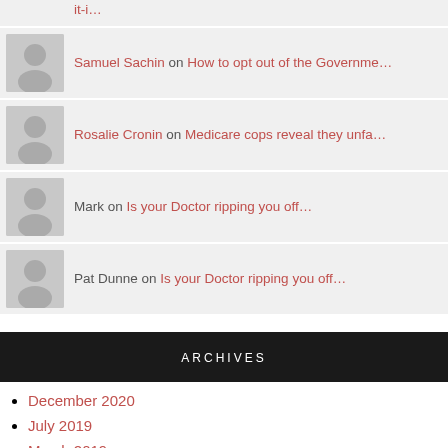it-i....
Samuel Sachin on How to opt out of the Governme…
Rosalie Cronin on Medicare cops reveal they unfa…
Mark on Is your Doctor ripping you off…
Pat Dunne on Is your Doctor ripping you off...
ARCHIVES
December 2020
July 2019
March 2019
December 2018
July 2018